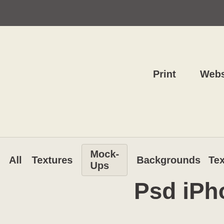Print    Webs
All    Textures    Mock-Ups    Backgrounds    Text
Psd iPhone